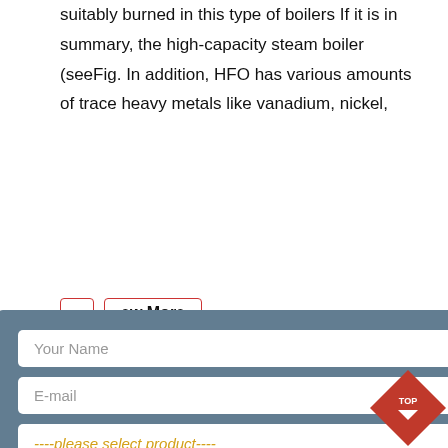suitably burned in this type of boilers. If it is in summary, the high-capacity steam boiler (seeFig. In addition, HFO has various amounts of trace heavy metals like vanadium, nickel,
[Figure (screenshot): A web form modal overlay on a grey-blue background with fields: Your Name, E-mail, a product select dropdown, capacity, and a SUBMIT button. A close (X) button is in the top right.]
[Figure (flowchart): A flowchart diagram with Japanese text labels, showing a process flow with boxes and arrows on a light blue background.]
HFO or heavy fuel oil is the most widely used type of fuels for commercial chamber of the engine or to generate steam inside the boiler. motor ships replaced almost all steamships